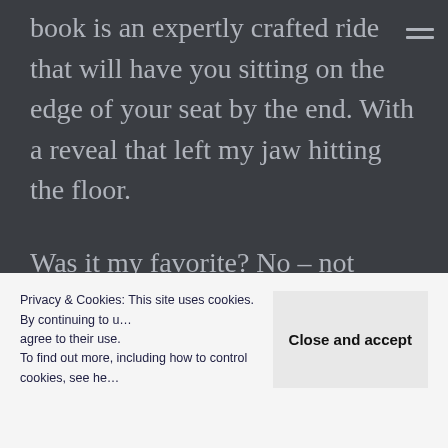book is an expertly crafted ride that will have you sitting on the edge of your seat by the end. With a reveal that left my jaw hitting the floor.
Was it my favorite? No – not really. I'll still remember Five Quarters of the orange in a vividness that astounded me and I'll always have a sweet spot for Chocolate. But, this was a fun ride that came just in time for Halloween
Privacy & Cookies: This site uses cookies. By continuing to u… agree to their use.
To find out more, including how to control cookies, see he…
Close and accept